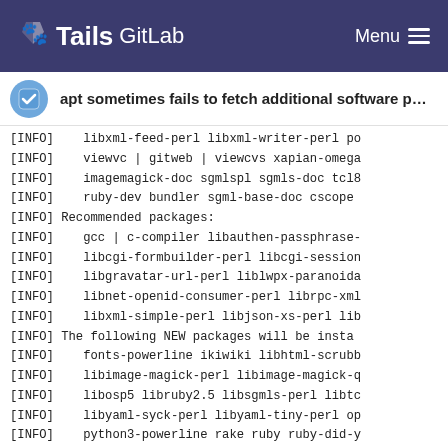Tails GitLab  Menu
apt sometimes fails to fetch additional software packa...
[INFO]    libxml-feed-perl libxml-writer-perl po
[INFO]    viewvc | gitweb | viewcvs xapian-omega
[INFO]    imagemagick-doc sgmlspl sgmls-doc tcl8
[INFO]    ruby-dev bundler sgml-base-doc cscope
[INFO] Recommended packages:
[INFO]    gcc | c-compiler libauthen-passphrase-
[INFO]    libcgi-formbuilder-perl libcgi-session
[INFO]    libgravatar-url-perl liblwpx-paranoida
[INFO]    libnet-openid-consumer-perl librpc-xml
[INFO]    libxml-simple-perl libjson-xs-perl lib
[INFO] The following NEW packages will be insta
[INFO]    fonts-powerline ikiwiki libhtml-scrubb
[INFO]    libimage-magick-perl libimage-magick-q
[INFO]    libosp5 libruby2.5 libsgmls-perl libtc
[INFO]    libyaml-syck-perl libyaml-tiny-perl op
[INFO]    python3-powerline rake ruby ruby-did-y
[INFO]    ruby-power-assert ruby-test-unit ruby-
[INFO]    sgml-base vim-addon-manager vim-nox vi